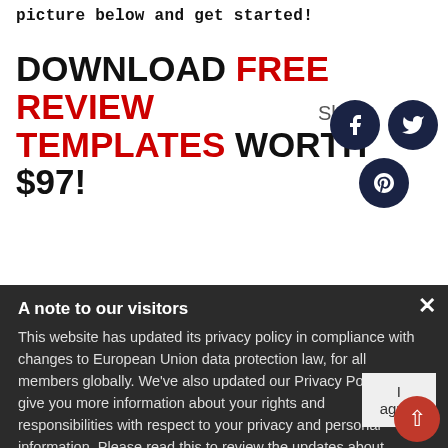picture below and get started!
DOWNLOAD FREE REVIEW TEMPLATES WORTH $97! Share
A note to our visitors
This website has updated its privacy policy in compliance with changes to European Union data protection law, for all members globally. We've also updated our Privacy Policy to give you more information about your rights and responsibilities with respect to your privacy and personal information. Please read this to review the updates about which cookies we use and what information we collect on our site. By continuing to use this site, you are agreeing to our updated privacy policy.